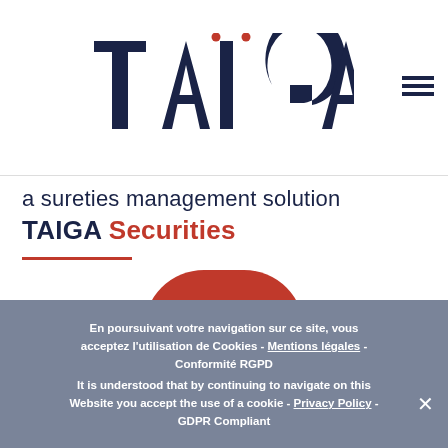[Figure (logo): TAIGA company logo in dark navy blue with red dots on the i]
a sureties management solution
TAIGA Securities
En poursuivant votre navigation sur ce site, vous acceptez l'utilisation de Cookies - Mentions légales - Conformité RGPD
It is understood that by continuing to navigate on this Website you accept the use of a cookie - Privacy Policy - GDPR Compliant
Ok